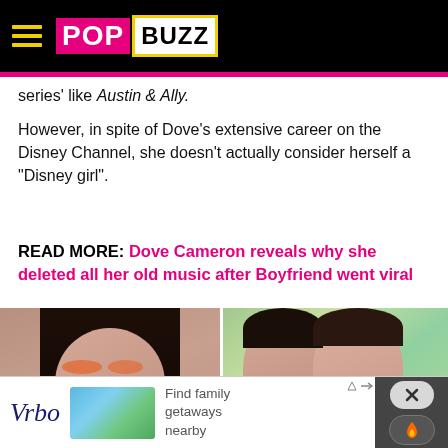POPBUZZ
series' like Austin & Ally.
However, in spite of Dove's extensive career on the Disney Channel, she doesn't actually consider herself a "Disney girl".
READ MORE: Dove Cameron reveals why she deleted all her old music after Boyfriend went viral
[Figure (photo): Left: close-up portrait of a young woman with dark hair and colorful eye makeup. Right: two smiling young women posing together outdoors.]
[Figure (infographic): Vrbo advertisement banner with logo, vacation home image, and text 'Find family getaways nearby'. Includes close and flame buttons.]